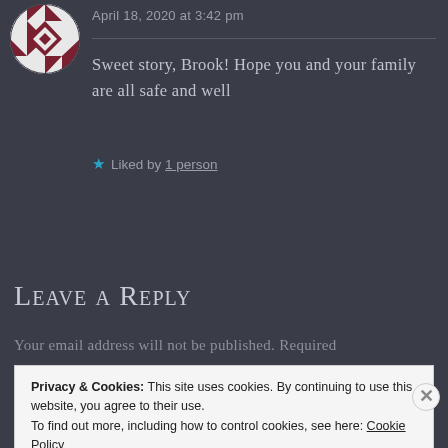[Figure (illustration): Decorative avatar with geometric diamond/arrow pattern in dark red and white, circular crop]
April 18, 2020 at 3:42 pm
Sweet story, Brook! Hope you and your family are all safe and well
★ Liked by 1 person
Leave a Reply
Your email address will not be published. Required
Privacy & Cookies: This site uses cookies. By continuing to use this website, you agree to their use.
To find out more, including how to control cookies, see here: Cookie Policy
Close and accept